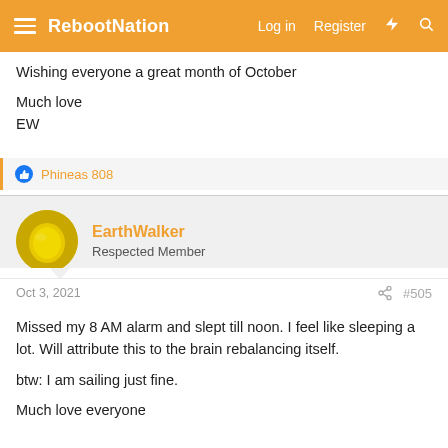RebootNation — Log in  Register
Wishing everyone a great month of October

Much love
EW
Phineas 808
EarthWalker
Respected Member
Oct 3, 2021  #505
Missed my 8 AM alarm and slept till noon. I feel like sleeping a lot. Will attribute this to the brain rebalancing itself.

btw: I am sailing just fine.

Much love everyone